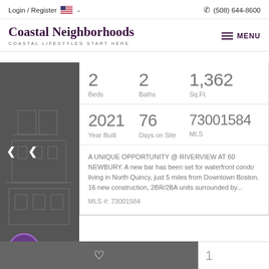Login / Register  🇺🇸 ∨    ☎ (508) 644-8600
Coastal Neighborhoods
COASTAL LIFESTYLES START HERE
MENU
|  |  |  |
| --- | --- | --- |
| 2
Beds | 2
Baths | 1,362
Sq.Ft. |
| 2021
Year Built | 76
Days on Site | 73001584
MLS |
A UNIQUE OPPORTUNITY @ RIVERVIEW AT 60 NEWBURY. A new bar has been set for waterfront condo living in North Quincy, just 5 miles from Downtown Boston. 16 new construction, 2BR/2BA units surrounded by...
MLS #: 73001584